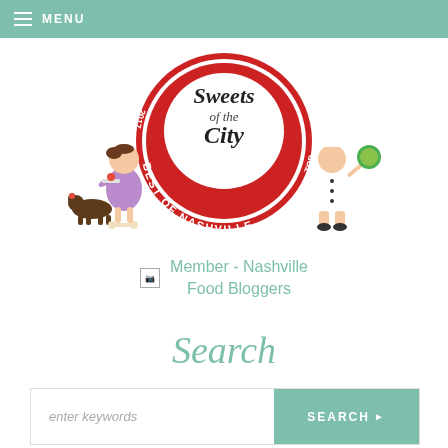MENU
[Figure (illustration): Sweets of the City Best of Nashville award badge with cartoon characters - a girl chef with a dog and a boy chef, surrounding a circular red badge with white text]
Member - Nashville Food Bloggers
Search
enter keywords SEARCH